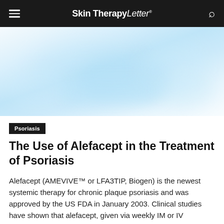Skin Therapy Letter
[Figure (photo): Blurred medical/dermatology image with light blue tones, showing soft unfocused shapes suggesting medical equipment or skin treatment context]
Psoriasis
The Use of Alefacept in the Treatment of Psoriasis
Alefacept (AMEVIVE™ or LFA3TIP, Biogen) is the newest systemic therapy for chronic plaque psoriasis and was approved by the US FDA in January 2003. Clinical studies have shown that alefacept, given via weekly IM or IV injections for 12 weeks, was well tolerated, with no reported serious adverse events.